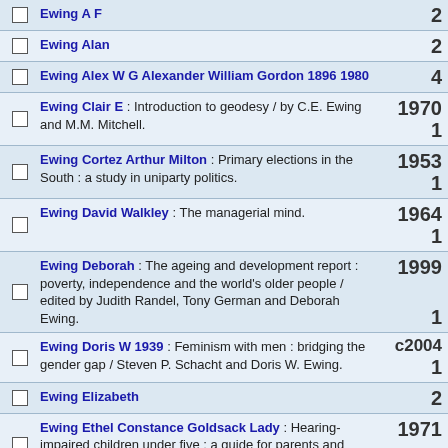Ewing A F
Ewing Alan
Ewing Alex W G Alexander William Gordon 1896 1980
Ewing Clair E : Introduction to geodesy / by C.E. Ewing and M.M. Mitchell.
Ewing Cortez Arthur Milton : Primary elections in the South : a study in uniparty politics.
Ewing David Walkley : The managerial mind.
Ewing Deborah : The ageing and development report : poverty, independence and the world's older people / edited by Judith Randel, Tony German and Deborah Ewing.
Ewing Doris W 1939 : Feminism with men : bridging the gender gap / Steven P. Schacht and Doris W. Ewing.
Ewing Elizabeth
Ewing Ethel Constance Goldsack Lady : Hearing-impaired children under five ; a guide for parents and teachers / Sir Alexander Ewing & Lady Ethel C. Ewing.
Ewing Galen Wood 1914